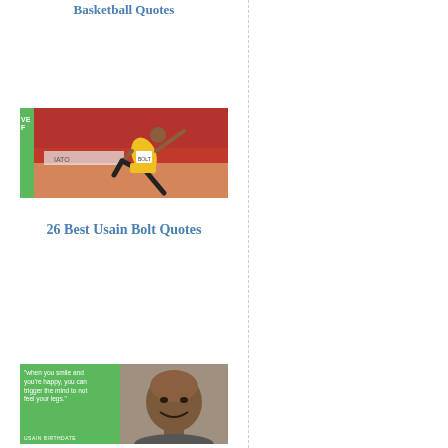Basketball Quotes
[Figure (photo): Usain Bolt sprinting/running in yellow and green Jamaica uniform at a track event, with a green sidebar]
26 Best Usain Bolt Quotes
[Figure (photo): Quote image with green background on left side saying 'When you smile and you're happy, you can trigger the mind to not feel your legs.' with a portrait of a smiling bald man on the right, and 'USAIN BIRTHDATE' text at bottom]